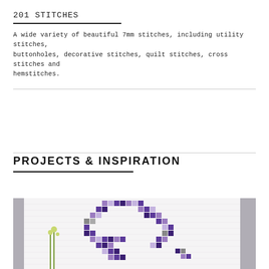201 STITCHES
A wide variety of beautiful 7mm stitches, including utility stitches, buttonholes, decorative stitches, quilt stitches, cross stitches and hemstitches.
PROJECTS & INSPIRATION
[Figure (photo): A pixel-art style quilt hanging on a white wall, featuring a pixelated figure/letter in shades of purple, dark navy, light lavender, and grey squares on a white background. Green flowers visible on left side, grey decorative elements on right side.]